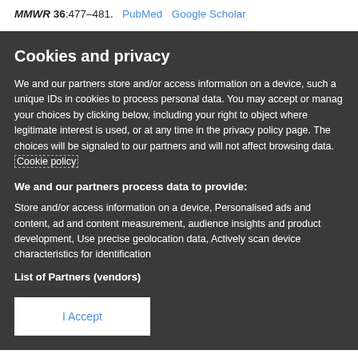MMWR 36:477–481. PubMed Google Scholar
Cookies and privacy
We and our partners store and/or access information on a device, such as unique IDs in cookies to process personal data. You may accept or manage your choices by clicking below, including your right to object where legitimate interest is used, or at any time in the privacy policy page. These choices will be signaled to our partners and will not affect browsing data. Cookie policy
We and our partners process data to provide:
Store and/or access information on a device, Personalised ads and content, ad and content measurement, audience insights and product development, Use precise geolocation data, Actively scan device characteristics for identification
List of Partners (vendors)
I Accept